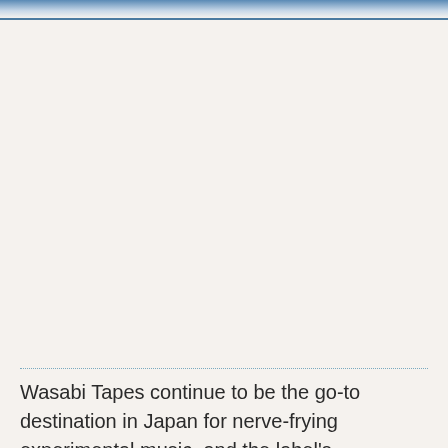[Figure (photo): Partial image visible at very top of page, appears to be a colorful photograph cropped to a thin strip]
Wasabi Tapes continue to be the go-to destination in Japan for nerve-frying experimental music, and the label's